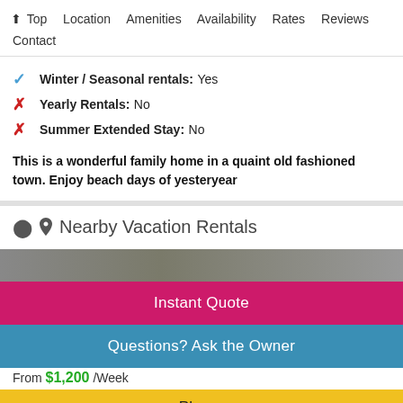↑ Top   Location   Amenities   Availability   Rates   Reviews   Contact
✓ Winter / Seasonal rentals: Yes
✗ Yearly Rentals: No
✗ Summer Extended Stay: No
This is a wonderful family home in a quaint old fashioned town. Enjoy beach days of yesteryear
📍 Nearby Vacation Rentals
Instant Quote
Questions? Ask the Owner
From $1,200 /Week
Phone
beach Monthly Rental